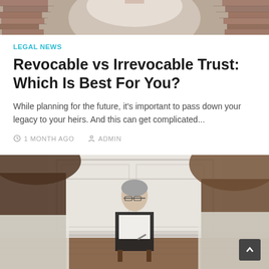[Figure (photo): Top portion of a photo showing a brick archway interior, partially cropped at the bottom]
LEGAL NEWS
Revocable vs Irrevocable Trust: Which Is Best For You?
While planning for the future, it's important to pass down your legacy to your heirs. And this can get complicated...
1 MONTH AGO   ADMIN
[Figure (photo): A professional woman with short gray hair and glasses sits in a chair in an elegant white-paneled room, viewed from behind two people in the foreground]